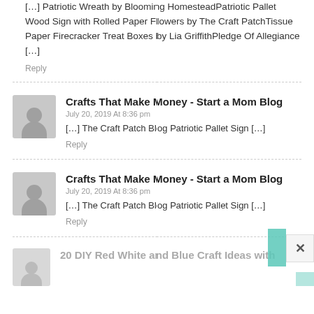[…] Patriotic Wreath by Blooming HomesteadPatriotic Pallet Wood Sign with Rolled Paper Flowers by The Craft PatchTissue Paper Firecracker Treat Boxes by Lia GriffithPledge Of Allegiance […]
Reply
Crafts That Make Money - Start a Mom Blog
July 20, 2019 At 8:36 pm
[…] The Craft Patch Blog Patriotic Pallet Sign […]
Reply
Crafts That Make Money - Start a Mom Blog
July 20, 2019 At 8:36 pm
[…] The Craft Patch Blog Patriotic Pallet Sign […]
Reply
20 DIY Red White and Blue Craft Ideas with